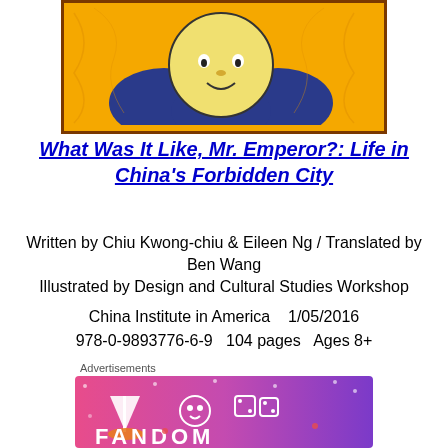[Figure (illustration): Book cover illustration showing a cartoon emperor character with yellow round face and blue sleeves on an orange/yellow background with brown border]
What Was It Like, Mr. Emperor?: Life in China's Forbidden City
Written by Chiu Kwong-chiu & Eileen Ng / Translated by Ben Wang
Illustrated by Design and Cultural Studies Workshop
China Institute in America    1/05/2016
978-0-9893776-6-9    104 pages    Ages 8+
Advertisements
[Figure (illustration): Colorful advertisement banner with pink-to-purple gradient background, featuring white doodles of a sailboat, skull, dice, and the word FANDOM in bold letters]